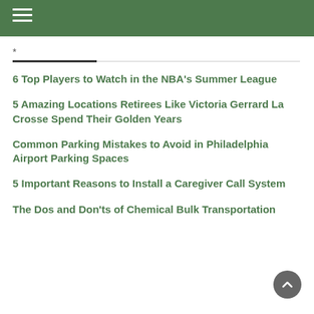Navigation menu header bar
*
6 Top Players to Watch in the NBA's Summer League
5 Amazing Locations Retirees Like Victoria Gerrard La Crosse Spend Their Golden Years
Common Parking Mistakes to Avoid in Philadelphia Airport Parking Spaces
5 Important Reasons to Install a Caregiver Call System
The Dos and Don'ts of Chemical Bulk Transportation